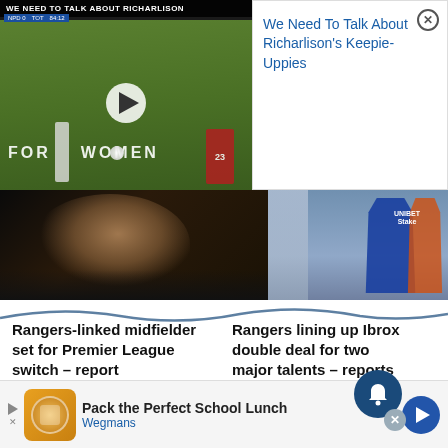[Figure (screenshot): Video thumbnail showing football/soccer players on a field with 'We Need To Talk About Richarlison' title bar overlay and play button]
We Need To Talk About Richarlison's Keepie-Uppies
[Figure (photo): Close-up side profile of a man (football manager) with beard against dark background]
[Figure (photo): Rangers players in blue jerseys running on a football pitch]
Rangers-linked midfielder set for Premier League switch – report
Rangers lining up Ibrox double deal for two major talents – reports
[Figure (screenshot): Advertisement banner: Pack the Perfect School Lunch - Wegmans]